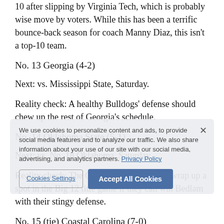10 after slipping by Virginia Tech, which is probably wise move by voters. While this has been a terrific bounce-back season for coach Manny Diaz, this isn't a top-10 team.
No. 13 Georgia (4-2)
Next: vs. Mississippi State, Saturday.
Reality check: A healthy Bulldogs' defense should chew up the rest of Georgia's schedule.
No. 14 Oklahoma State (5-1)
Next: vs. No. 18 Oklahoma, Saturday.
Reality check: The Cowboys would all but wrap up a spot in the Big 12 title game if they can win Bedlam with their stingy defense.
No. 15 (tie) Coastal Carolina (7-0)
Next: at Appalachian State, Saturday.